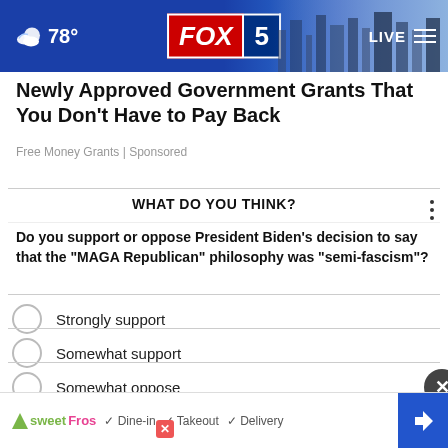78° FOX 5 LIVE
Newly Approved Government Grants That You Don't Have to Pay Back
Free Money Grants | Sponsored
WHAT DO YOU THINK?
Do you support or oppose President Biden's decision to say that the "MAGA Republican" philosophy was "semi-fascism"?
Strongly support
Somewhat support
Somewhat oppose
S...
O...